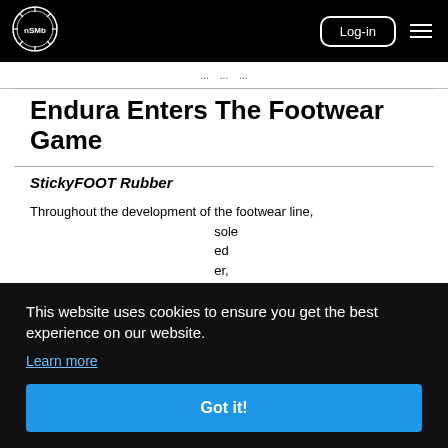nSMB logo | Log-in | menu
... ... ...
Endura Enters The Footwear Game
StickyFOOT Rubber
Throughout the development of the footwear line, ... sole ... ed ... er, ... oles performance and a hardwearing long lifespan.
This website uses cookies to ensure you get the best experience on our website. Learn more
Got it!